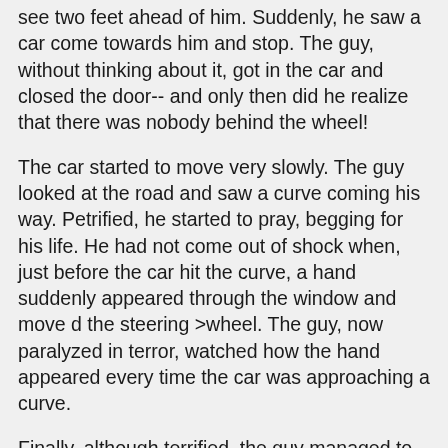see two feet ahead of him. Suddenly, he saw a car come towards him and stop. The guy, without thinking about it, got in the car and closed the door-- and only then did he realize that there was nobody behind the wheel!
The car started to move very slowly. The guy looked at the road and saw a curve coming his way. Petrified, he started to pray, begging for his life. He had not come out of shock when, just before the car hit the curve, a hand suddenly appeared through the window and move d the steering >wheel. The guy, now paralyzed in terror, watched how the hand appeared every time the car was approaching a curve.
Finally, although terrified, the guy managed to open the door and
jump out of the spooky car. Without looking back, the guy ran through the storm all the way to the nearest town. Soaking wet, exhausted and in a state of utter shock the pale, visibly shaken guy walked into a nearby bar and asked for two shots of Screech. Then, still trembling with fright, he started telling everybody in the bar about the horrible experience he'd just gone through with the spooky car with no driver and